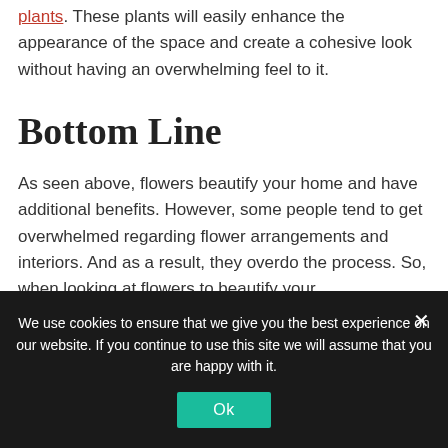plants. These plants will easily enhance the appearance of the space and create a cohesive look without having an overwhelming feel to it.
Bottom Line
As seen above, flowers beautify your home and have additional benefits. However, some people tend to get overwhelmed regarding flower arrangements and interiors. And as a result, they overdo the process. So, when looking at flowers to beautify your
We use cookies to ensure that we give you the best experience on our website. If you continue to use this site we will assume that you are happy with it.